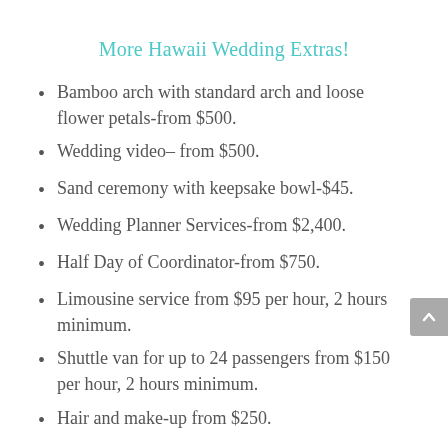More Hawaii Wedding Extras!
Bamboo arch with standard arch and loose flower petals-from $500.
Wedding video- from $500.
Sand ceremony with keepsake bowl-$45.
Wedding Planner Services-from $2,400.
Half Day of Coordinator-from $750.
Limousine service from $95 per hour, 2 hours minimum.
Shuttle van for up to 24 passengers from $150 per hour, 2 hours minimum.
Hair and make-up from $250.